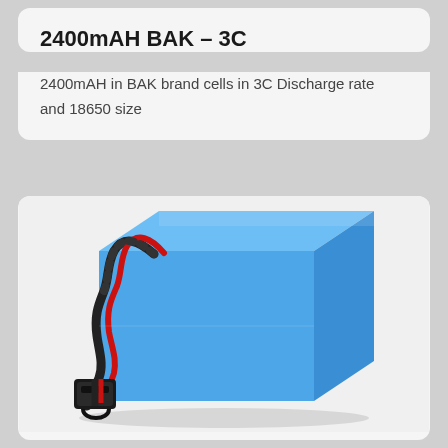2400mAH BAK – 3C
2400mAH in BAK brand cells in 3C Discharge rate and 18650 size
[Figure (photo): Blue rectangular lithium battery pack (18650 size) with red and black wires and a black connector plug, shown at an angle on a white/grey background.]